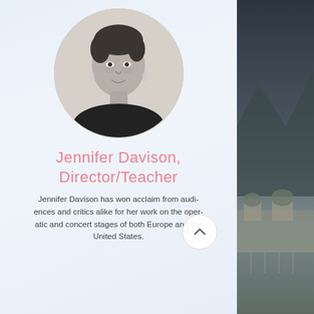[Figure (photo): Black and white circular portrait photo of Jennifer Davison, a woman with short styled hair, wearing a dark jacket, smiling at the camera]
Jennifer Davison, Director/Teacher
Jennifer Davison has won acclaim from audiences and critics alike for her work on the operatic and concert stages of both Europe and the United States.
[Figure (photo): Right side panel showing a dark atmospheric photo of what appears to be a European baroque palace building (Belvedere) with water feature in foreground]